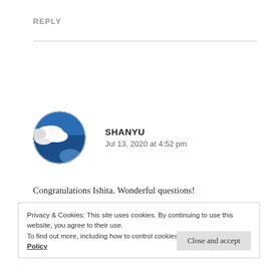REPLY
[Figure (illustration): Circular avatar photo showing clouds in a blue sky]
SHANYU
Jul 13, 2020 at 4:52 pm
Congratulations Ishita. Wonderful questions!
Privacy & Cookies: This site uses cookies. By continuing to use this website, you agree to their use.
To find out more, including how to control cookies, see here: Cookie Policy